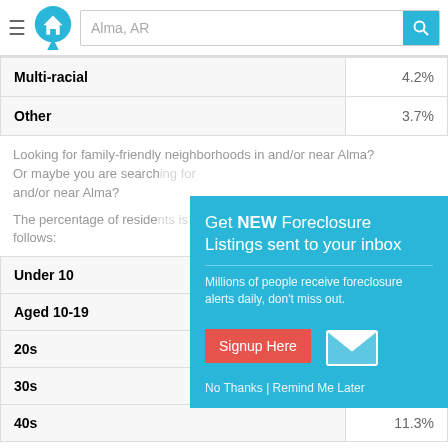Alma, AR — search bar with logo
| Category | Percentage |
| --- | --- |
| Multi-racial | 4.2% |
| Other | 3.7% |
Looking for family-friendly neighborhoods in and/or near Alma? Or maybe you are searching for and/or near Alma?
The percentage of residents is as follows:
| Age Group | Percentage |
| --- | --- |
| Under 10 |  |
| Aged 10-19 |  |
| 20s |  |
| 30s | 14% |
| 40s | 11.3% |
[Figure (infographic): Popup modal: 'Get NEW Foreclosure Listings sent to your inbox' with signup button, envelope icon, and 'No Thanks | Remind Me Later' link on teal background]